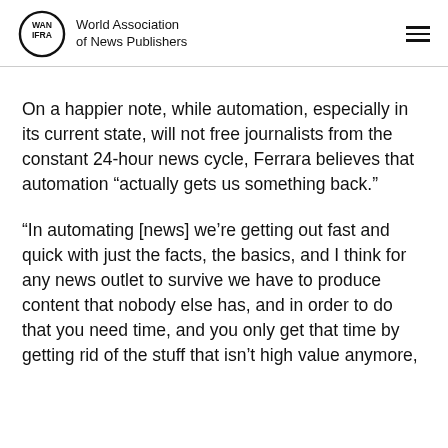World Association of News Publishers
On a happier note, while automation, especially in its current state, will not free journalists from the constant 24-hour news cycle, Ferrara believes that automation “actually gets us something back.”
“In automating [news] we’re getting out fast and quick with just the facts, the basics, and I think for any news outlet to survive we have to produce content that nobody else has, and in order to do that you need time, and you only get that time by getting rid of the stuff that isn’t high value anymore,